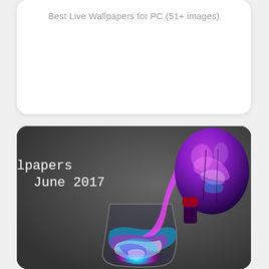Best Live Wallpapers for PC (51+ images)
[Figure (photo): A colorful photo showing a glass bottle pouring vibrant pink/magenta cosmic paint into a glass containing swirling blue, pink, and white luminescent liquid on a dark gray background, with text 'lpapers June 2017' overlaid in white monospace font.]